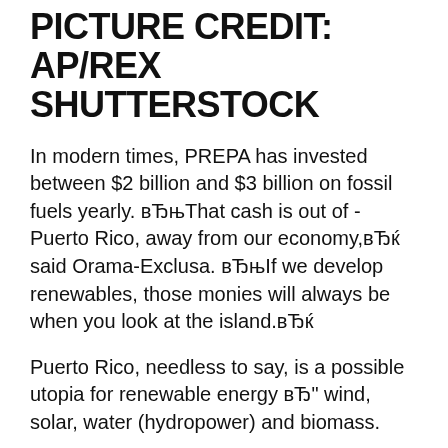PICTURE CREDIT: AP/REX SHUTTERSTOCK
In modern times, PREPA has invested between $2 billion and $3 billion on fossil fuels yearly. вЂњThat cash is out of -Puerto Rico, away from our economy,вЂќ said Orama-Exclusa. вЂњIf we develop renewables, those monies will always be when you look at the island.вЂќ
Puerto Rico, needless to say, is a possible utopia for renewable energy вЂ" wind, solar, water (hydropower) and biomass.